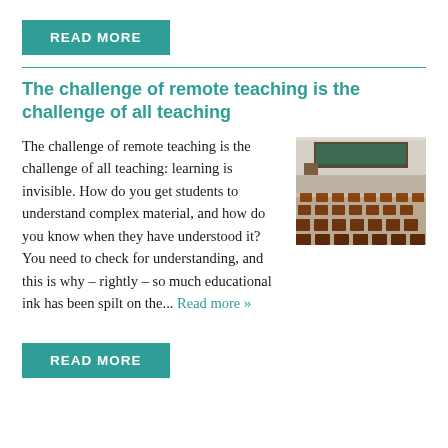READ MORE
The challenge of remote teaching is the challenge of all teaching
The challenge of remote teaching is the challenge of all teaching: learning is invisible. How do you get students to understand complex material, and how do you know when they have understood it? You need to check for understanding, and this is why – rightly – so much educational ink has been spilt on the... Read more »
[Figure (photo): Empty university lecture hall with rows of wooden seats and a chalkboard at the front]
READ MORE